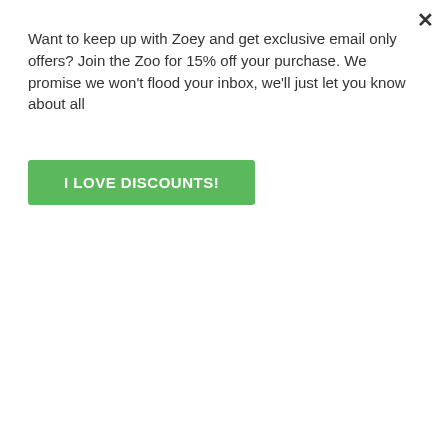Want to keep up with Zoey and get exclusive email only offers? Join the Zoo for 15% off your purchase. We promise we won't flood your inbox, we'll just let you know about all
I LOVE DISCOUNTS!
[Figure (photo): White raglan shirt with red sleeves; overlay text reads CHOOSE RED FOIL OR GLITTER]
[Figure (photo): White raglan shirt with Benson Family Christmas text, red bow and red sleeve]
CHOOSE OPTIONS
CHOOSE OPTIONS
Valentine love sparkly heart ADULT raglan shirt
★★★★★ 2 reviews
Zoey's Attic
$24.50
snlv-r-011-r
Family Christmas vintage truck personalized unisex ADULT raglan shirt
★★★★★ 1 review
Zoey's Attic
$22.50
22SNLC-084-R